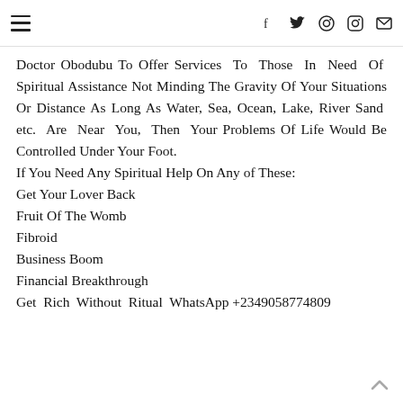Navigation menu | f | twitter | pinterest | instagram | email
Doctor Obodubu To Offer Services To Those In Need Of Spiritual Assistance Not Minding The Gravity Of Your Situations Or Distance As Long As Water, Sea, Ocean, Lake, River Sand etc. Are Near You, Then Your Problems Of Life Would Be Controlled Under Your Foot. If You Need Any Spiritual Help On Any of These:
Get Your Lover Back
Fruit Of The Womb
Fibroid
Business Boom
Financial Breakthrough
Get Rich Without Ritual WhatsApp +2349058774809